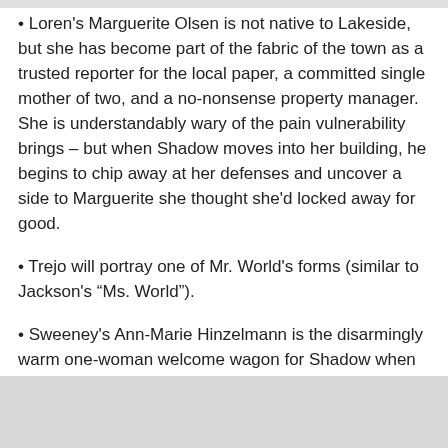Loren's Marguerite Olsen is not native to Lakeside, but she has become part of the fabric of the town as a trusted reporter for the local paper, a committed single mother of two, and a no-nonsense property manager. She is understandably wary of the pain vulnerability brings – but when Shadow moves into her building, he begins to chip away at her defenses and uncover a side to Marguerite she thought she'd locked away for good.
Trejo will portray one of Mr. World's forms (similar to Jackson's "Ms. World").
Sweeney's Ann-Marie Hinzelmann is the disarmingly warm one-woman welcome wagon for Shadow when he arrives at Lakeside. She's the owner of a small convenience store, a world-famous fishing lure artisan, and the unofficial self-appointed mayor.